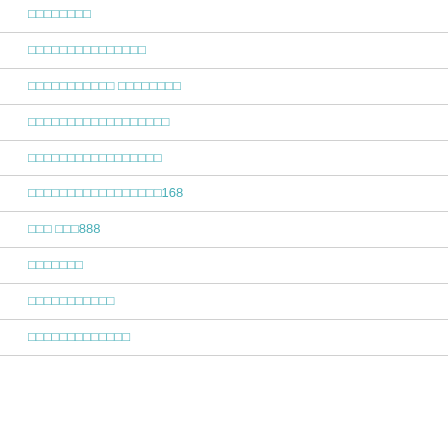□□□□□□□□
□□□□□□□□□□□□□□□
□□□□□□□□□□□ □□□□□□□□
□□□□□□□□□□□□□□□□□□
□□□□□□□□□□□□□□□□□
□□□□□□□□□□□□□□□□□168
□□□ □□□888
□□□□□□□
□□□□□□□□□□□
□□□□□□□□□□□□□